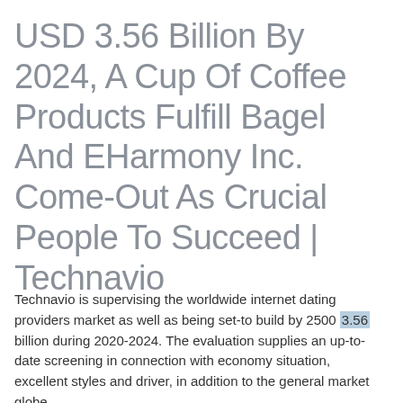USD 3.56 Billion By 2024, A Cup Of Coffee Products Fulfill Bagel And EHarmony Inc. Come-Out As Crucial People To Succeed | Technavio
Technavio is supervising the worldwide internet dating providers market as well as being set-to build by 2500 3.56 billion during 2020-2024. The evaluation supplies an up-to-date screening in connection with economy situation, excellent styles and driver, in addition to the general market globe.